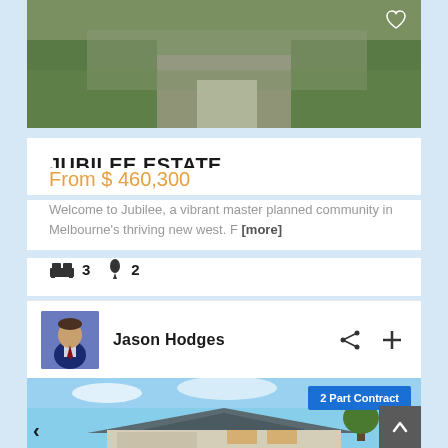[Figure (photo): Aerial/street view of a residential property driveway with lawn and greenery]
JUBILEE ESTATE
From $ 460,300
Welcome to Jubilee, a vibrant master planned community in Melbourne's thriving new west. F [more]
3 bedrooms, 2 bathrooms
Jason Hodges
[Figure (photo): Front exterior of a residential house with dark roof tiles, rendered facade, and garage]